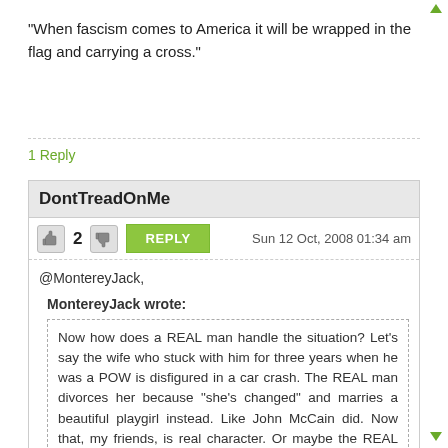"When fascism comes to America it will be wrapped in the flag and carrying a cross."
1 Reply
DontTreadOnMe
Sun 12 Oct, 2008 01:34 am
@MontereyJack,
MontereyJack wrote:
Now how does a REAL man handle the situation? Let's say the wife who stuck with him for three years when he was a POW is disfigured in a car crash. The REAL man divorces her because "she's changed" and marries a beautiful playgirl instead. Like John McCain did. Now that, my friends, is real character. Or maybe the REAL man serves divorce papers on his wife while she's undergoing treatment for cancer. Like that real hero Newt